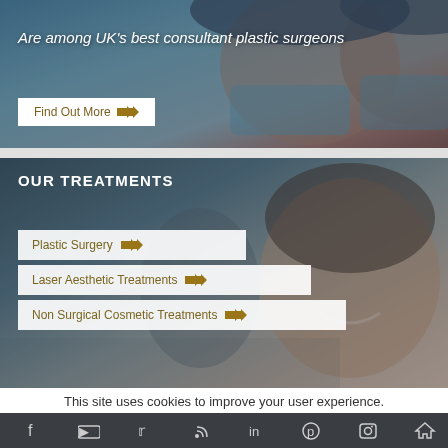[Figure (photo): Close-up photo of two surgeons in surgical masks and caps — a UK cosmetic surgery website banner image.]
Are among UK's best consultant plastic surgeons
Find Out More
[Figure (photo): Medical professional (smiling woman) in a clinical setting — 'Our Treatments' banner image.]
OUR TREATMENTS
Plastic Surgery
Laser Aesthetic Treatments
Non Surgical Cosmetic Treatments
This site uses cookies to improve your user experience.
ACCEPT
Read More
[Figure (infographic): Social media icon bar at bottom: Facebook, YouTube, Twitter, RSS, LinkedIn, Pinterest, Instagram, and another icon on dark background.]